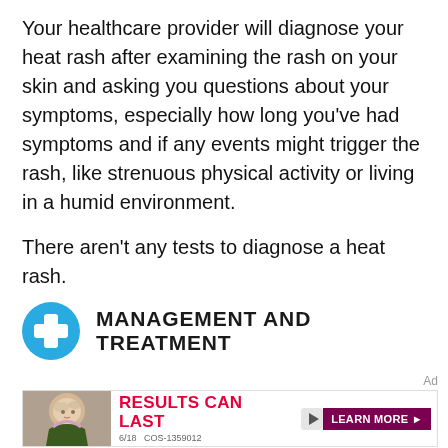Your healthcare provider will diagnose your heat rash after examining the rash on your skin and asking you questions about your symptoms, especially how long you've had symptoms and if any events might trigger the rash, like strenuous physical activity or living in a humid environment.
There aren't any tests to diagnose a heat rash.
MANAGEMENT AND TREATMENT
[Figure (other): Advertisement banner with a person with blonde curly hair on the left, red bold text 'RESULTS CAN LAST' with a play button icon, small text '6/18 COS-1359012', and a dark purple 'LEARN MORE ▶' button on the right.]